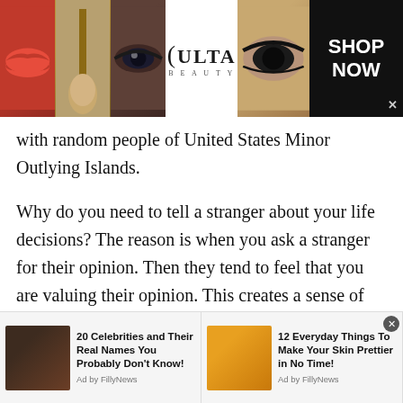[Figure (infographic): Top advertisement banner for Ulta Beauty showing makeup imagery (lips, brush, eyes) with ULTA logo and SHOP NOW call to action button]
with random people of United States Minor Outlying Islands.
Why do you need to tell a stranger about your life decisions? The reason is when you ask a stranger for their opinion. Then they tend to feel that you are valuing their opinion. This creates a sense of being acknowledged amongst the people. Moreover, a stranger shall never misguide you. Since they are a stranger to you and you both are trying to grow your social circle. By this simple mere act, you can easily
[Figure (infographic): Bottom ad bar with two sponsored content items: '20 Celebrities and Their Real Names You Probably Don't Know!' with photo of Oprah, and '12 Everyday Things To Make Your Skin Prettier in No Time!' with photo of woman with face mask. Both attributed to 'Ad by FillyNews']